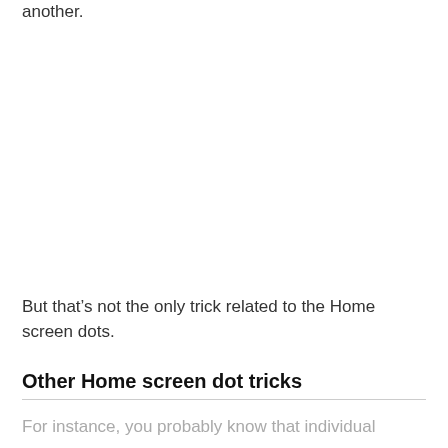another.
But that’s not the only trick related to the Home screen dots.
Other Home screen dot tricks
For instance, you probably know that individual